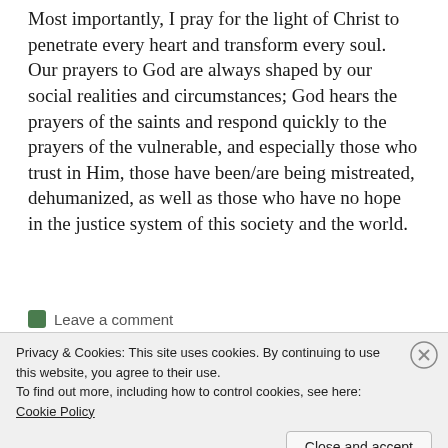Most importantly, I pray for the light of Christ to penetrate every heart and transform every soul. Our prayers to God are always shaped by our social realities and circumstances; God hears the prayers of the saints and respond quickly to the prayers of the vulnerable, and especially those who trust in Him, those have been/are being mistreated, dehumanized, as well as those who have no hope in the justice system of this society and the world.
Leave a comment
Privacy & Cookies: This site uses cookies. By continuing to use this website, you agree to their use.
To find out more, including how to control cookies, see here: Cookie Policy
Close and accept